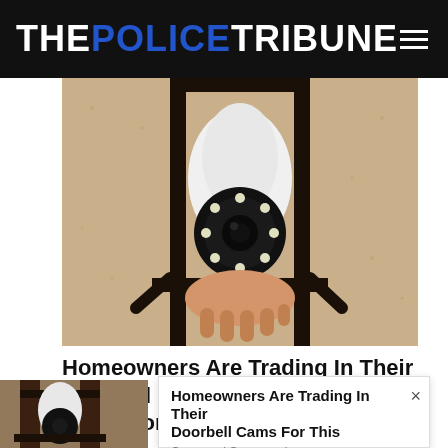THE POLICE TRIBUNE
[Figure (photo): Close-up photo of a person's hand installing a white security camera bulb into a black lantern-style outdoor light fixture mounted on a textured stucco wall.]
Homeowners Are Trading In Their Doorbell Cams For This
[Figure (photo): Partial photo of an outdoor lantern-style light fixture with a white security camera bulb, mounted on a wall.]
Homeowners Are Trading In Their Doorbell Cams For This
Camerca | Sponsored